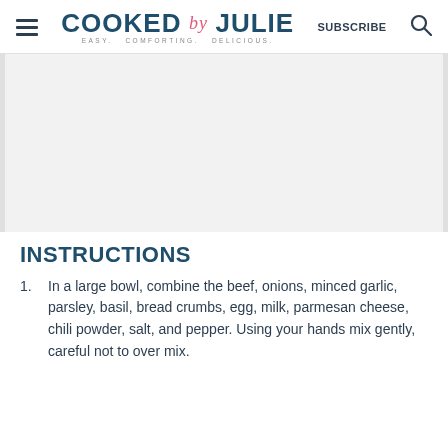COOKED by JULIE — EASY. COMFORTING. DELICIOUS. | SUBSCRIBE
[Figure (photo): Partially visible food/recipe photo placeholder area]
INSTRUCTIONS
In a large bowl, combine the beef, onions, minced garlic, parsley, basil, bread crumbs, egg, milk, parmesan cheese, chili powder, salt, and pepper. Using your hands mix gently, careful not to over mix.